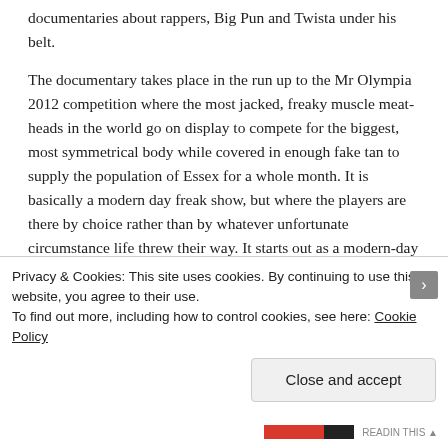documentaries about rappers, Big Pun and Twista under his belt.
The documentary takes place in the run up to the Mr Olympia 2012 competition where the most jacked, freaky muscle meat-heads in the world go on display to compete for the biggest, most symmetrical body while covered in enough fake tan to supply the population of Essex for a whole month. It is basically a modern day freak show, but where the players are there by choice rather than by whatever unfortunate circumstance life threw their way. It starts out as a modern-day Rocky story with the underdog, Kai Green, an artist of sorts who paints self portraits and poses in subways
Privacy & Cookies: This site uses cookies. By continuing to use this website, you agree to their use.
To find out more, including how to control cookies, see here: Cookie Policy